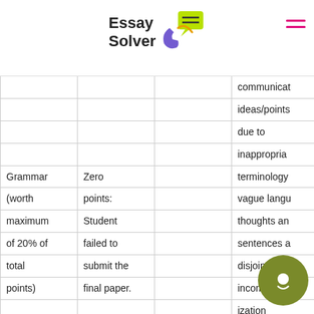Essay Solver
|  |  |  |  |
| --- | --- | --- | --- |
|  |  |  | communicat |
|  |  |  | ideas/points |
|  |  |  | due to |
|  |  |  | inappropria |
| Grammar | Zero | terminology |
| (worth | points: | vague langu |
| maximum | Student | thoughts an |
| of 20% of | failed to | sentences a |
| total | submit the | disjointed or |
| points) | final paper. | incomprehe |
|  |  | ization |
|  |  | ; and |
|  |  | numerous |